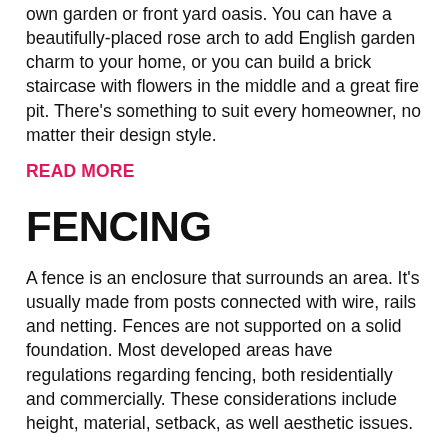own garden or front yard oasis. You can have a beautifully-placed rose arch to add English garden charm to your home, or you can build a brick staircase with flowers in the middle and a great fire pit. There's something to suit every homeowner, no matter their design style.
READ MORE
FENCING
A fence is an enclosure that surrounds an area. It's usually made from posts connected with wire, rails and netting. Fences are not supported on a solid foundation. Most developed areas have regulations regarding fencing, both residentially and commercially. These considerations include height, material, setback, as well aesthetic issues.